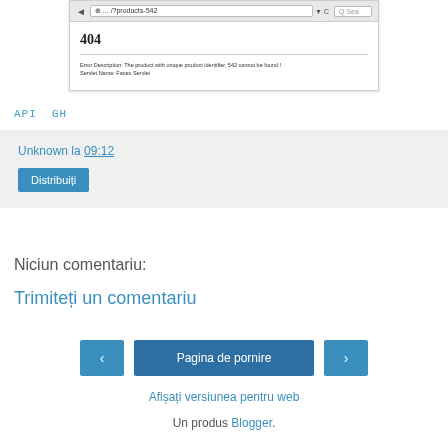[Figure (screenshot): Browser screenshot showing a 404 error page for URL .../?products-542. Error Description: The product with unique product identifier, 542 cannot be found! Servlet Name: Faces Servlet]
API GH
Unknown la 09:12
Distribuiți
Niciun comentariu:
Trimiteți un comentariu
‹ Pagina de pornire ›
Afișați versiunea pentru web
Un produs Blogger.